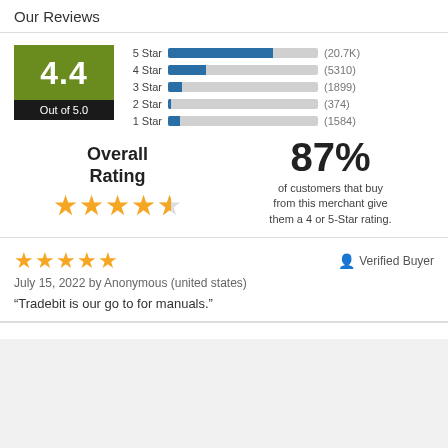Our Reviews
[Figure (bar-chart): Rating Distribution]
4.4 Out of 5.0
Overall Rating
87% of customers that buy from this merchant give them a 4 or 5-Star rating.
July 15, 2022 by Anonymous (united states)
“Tradebit is our go to for manuals.”